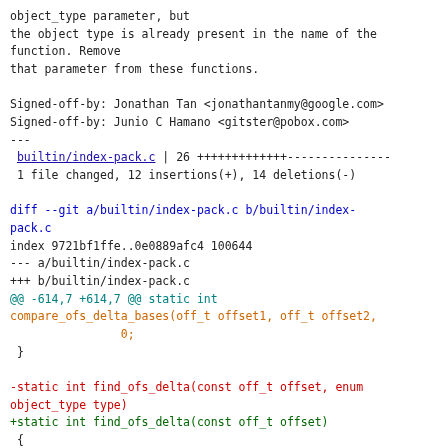object_type parameter, but
the object type is already present in the name of the function. Remove
that parameter from these functions.

Signed-off-by: Jonathan Tan <jonathantanmy@google.com>
Signed-off-by: Junio C Hamano <gitster@pobox.com>
---
 builtin/index-pack.c | 26 +++++++++++++---------------
 1 file changed, 12 insertions(+), 14 deletions(-)

diff --git a/builtin/index-pack.c b/builtin/index-pack.c
index 9721bf1ffe..0e0889afc4 100644
--- a/builtin/index-pack.c
+++ b/builtin/index-pack.c
@@ -614,7 +614,7 @@ static int
compare_ofs_delta_bases(off_t offset1, off_t offset2,
                0;
 }

-static int find_ofs_delta(const off_t offset, enum object_type type)
+static int find_ofs_delta(const off_t offset)
 {
         int first = 0, last = nr_ofs_deltas;

@@ -624,7 +624,8 @@ static int find_ofs_delta(const off_t offset, enum object_type type)
                int cmp;